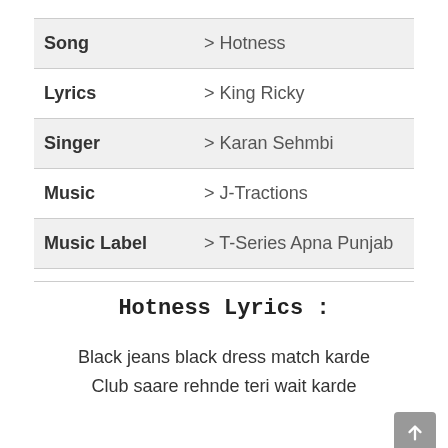| Field | Value |
| --- | --- |
| Song | > Hotness |
| Lyrics | > King Ricky |
| Singer | > Karan Sehmbi |
| Music | > J-Tractions |
| Music Label | > T-Series Apna Punjab |
Hotness Lyrics :
Black jeans black dress match karde
Club saare rehnde teri wait karde